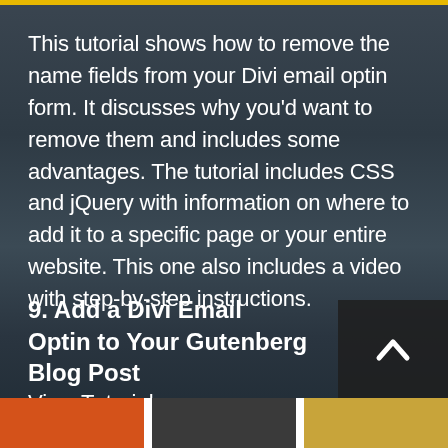This tutorial shows how to remove the name fields from your Divi email optin form. It discusses why you'd want to remove them and includes some advantages. The tutorial includes CSS and jQuery with information on where to add it to a specific page or your entire website. This one also includes a video with step-by-step instructions.
View Tutorial
9. Add a Divi Email Optin to Your Gutenberg Blog Post